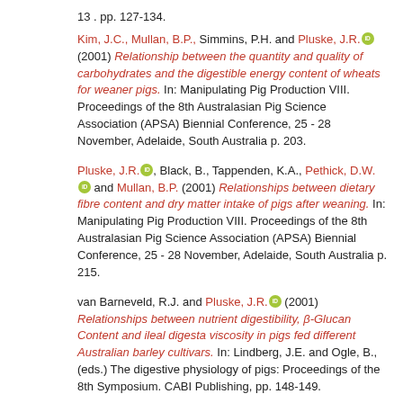13 . pp. 127-134.
Kim, J.C., Mullan, B.P., Simmins, P.H. and Pluske, J.R. [orcid] (2001) Relationship between the quantity and quality of carbohydrates and the digestible energy content of wheats for weaner pigs. In: Manipulating Pig Production VIII. Proceedings of the 8th Australasian Pig Science Association (APSA) Biennial Conference, 25 - 28 November, Adelaide, South Australia p. 203.
Pluske, J.R. [orcid], Black, B., Tappenden, K.A., Pethick, D.W. [orcid] and Mullan, B.P. (2001) Relationships between dietary fibre content and dry matter intake of pigs after weaning. In: Manipulating Pig Production VIII. Proceedings of the 8th Australasian Pig Science Association (APSA) Biennial Conference, 25 - 28 November, Adelaide, South Australia p. 215.
van Barneveld, R.J. and Pluske, J.R. [orcid] (2001) Relationships between nutrient digestibility, β-Glucan Content and ileal digesta viscosity in pigs fed different Australian barley cultivars. In: Lindberg, J.E. and Ogle, B., (eds.) The digestive physiology of pigs: Proceedings of the 8th Symposium. CABI Publishing, pp. 148-149.